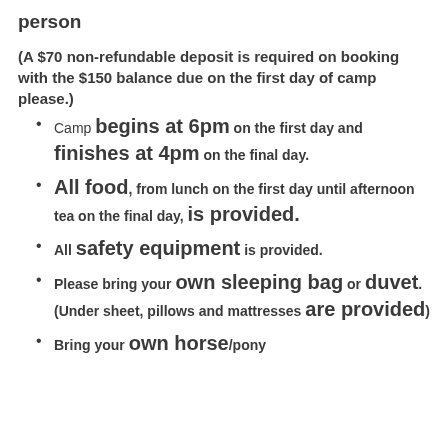person
(A $70 non-refundable deposit is required on booking with the $150 balance due on the first day of camp please.)
Camp begins at 6pm on the first day and finishes at 4pm on the final day.
All food, from lunch on the first day until afternoon tea on the final day, is provided.
All safety equipment is provided.
Please bring your own sleeping bag or duvet. (Under sheet, pillows and mattresses are provided)
Bring your own horse/pony